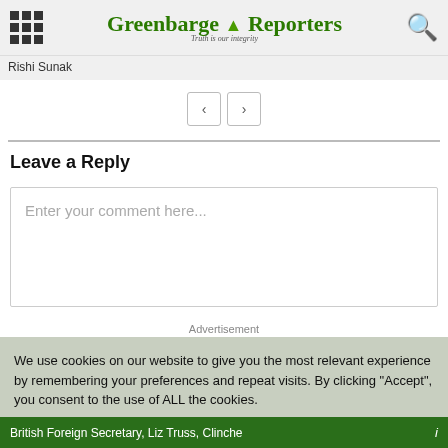Greenbarge Reporters — Truth is our integrity
Rishi Sunak
< >
Leave a Reply
Enter your comment here...
Advertisement
We use cookies on our website to give you the most relevant experience by remembering your preferences and repeat visits. By clicking "Accept", you consent to the use of ALL the cookies.
Cookie settings   ACCEPT
British Foreign Secretary, Liz Truss, Clinche